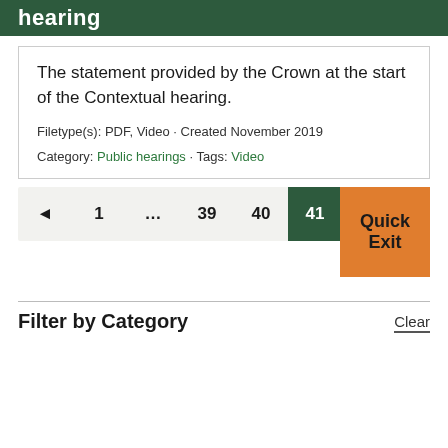hearing
The statement provided by the Crown at the start of the Contextual hearing.

Filetype(s): PDF, Video • Created November 2019

Category: Public hearings • Tags: Video
◄  1  ...  39  40  41  42
Quick Exit
Filter by Category
Clear